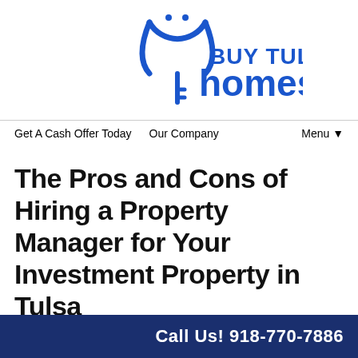[Figure (logo): Buy Tulsa Homes logo with a smiley face key icon and blue text reading BUY TULSA homes]
Get A Cash Offer Today   Our Company   Menu ▼
The Pros and Cons of Hiring a Property Manager for Your Investment Property in Tulsa
November 12, 2020
By ridan4
Call Us! 918-770-7886